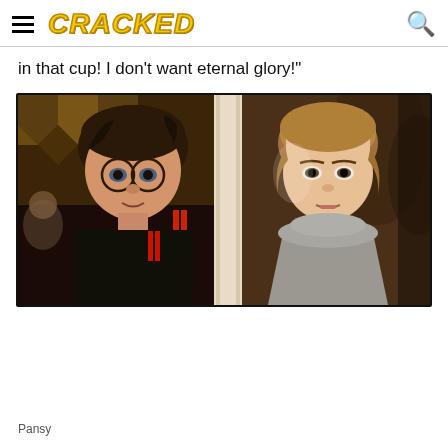CRACKED
in that cup! I don't want eternal glory!"
[Figure (photo): Movie still from Harry Potter and the Goblet of Fire showing Harry Potter (Daniel Radcliffe) wearing round glasses and a red and black jacket on the left, and Hermione Granger (Emma Watson) wearing a grey turtleneck sweater on the right. They appear to be looking at something with concerned expressions. The background shows a decorated interior space.]
Pansy